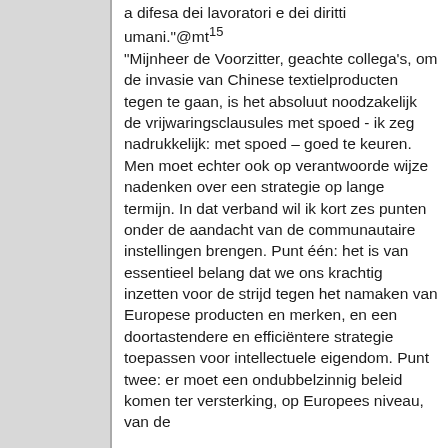a difesa dei lavoratori e dei diritti umani."@mt¹⁵ "Mijnheer de Voorzitter, geachte collega’s, om de invasie van Chinese textielproducten tegen te gaan, is het absoluut noodzakelijk de vrijwaringsclausules met spoed - ik zeg nadrukkelijk: met spoed – goed te keuren. Men moet echter ook op verantwoorde wijze nadenken over een strategie op lange termijn. In dat verband wil ik kort zes punten onder de aandacht van de communautaire instellingen brengen. Punt één: het is van essentieel belang dat we ons krachtig inzetten voor de strijd tegen het namaken van Europese producten en merken, en een doortastendere en efficiëntere strategie toepassen voor intellectuele eigendom. Punt twee: er moet een ondubbelzinnig beleid komen ter versterking, op Europees niveau, van de